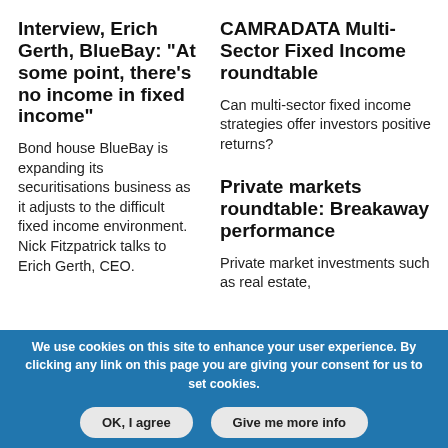Interview, Erich Gerth, BlueBay: “At some point, there’s no income in fixed income”
Bond house BlueBay is expanding its securitisations business as it adjusts to the difficult fixed income environment. Nick Fitzpatrick talks to Erich Gerth, CEO.
CAMRADATA Multi-Sector Fixed Income roundtable
Can multi-sector fixed income strategies offer investors positive returns?
Private markets roundtable: Breakaway performance
Private market investments such as real estate,
We use cookies on this site to enhance your user experience. By clicking any link on this page you are giving your consent for us to set cookies.
OK, I agree
Give me more info